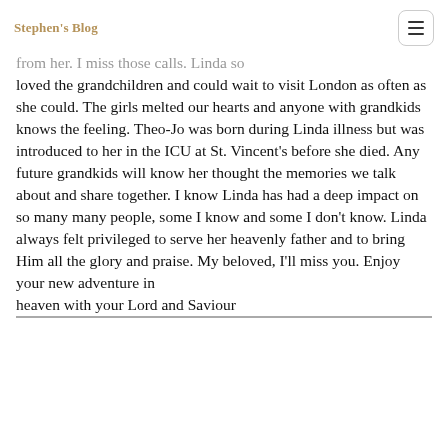Stephen's Blog
from her. I miss those calls. Linda so loved the grandchildren and could wait to visit London as often as she could. The girls melted our hearts and anyone with grandkids knows the feeling. Theo-Jo was born during Linda illness but was introduced to her in the ICU at St. Vincent's before she died. Any future grandkids will know her thought the memories we talk about and share together. I know Linda has had a deep impact on so many many people, some I know and some I don't know. Linda always felt privileged to serve her heavenly father and to bring Him all the glory and praise. My beloved, I'll miss you. Enjoy your new adventure in heaven with your Lord and Saviour